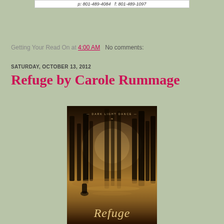p: 801-489-4084   f: 801-489-1097
Getting Your Read On at 4:00 AM   No comments:
SATURDAY, OCTOBER 13, 2012
Refuge by Carole Rummage
[Figure (photo): Book cover for 'Refuge' by Carole Rummage. Series title 'DARK LIGHT DANCE' at top. Misty forest scene with tall trees, golden-brown light, a figure by a reflective pool. Title 'Refuge' in italic script at bottom.]